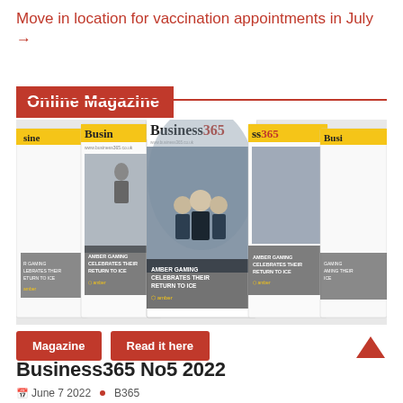Move in location for vaccination appointments in July →
Online Magazine
[Figure (photo): Fan of Business365 magazine covers showing AMBER GAMING CELEBRATES THEIR RETURN TO ICE edition, with group photo of people on the cover]
Magazine
Read it here
Business365 No5 2022
June 7 2022  • B365